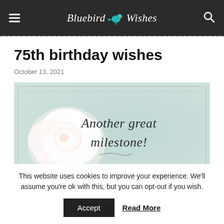Bluebird Wishes
75th birthday wishes
October 13, 2021
[Figure (illustration): A birthday card image with a white peony flower on a light teal background. Cursive text reads 'Another great milestone!' with a decorative swirl and partial text below.]
This website uses cookies to improve your experience. We'll assume you're ok with this, but you can opt-out if you wish.